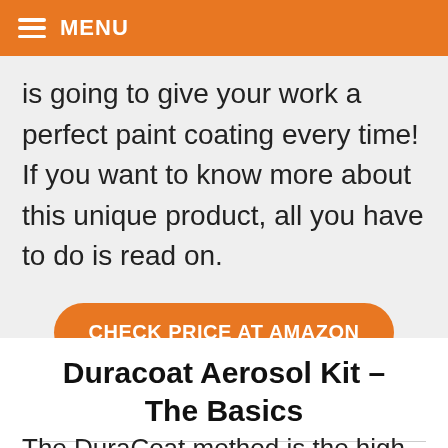MENU
is going to give your work a perfect paint coating every time! If you want to know more about this unique product, all you have to do is read on.
CHECK PRICE AT AMAZON
Duracoat Aerosol Kit – The Basics
The DuraCoat method is the high-